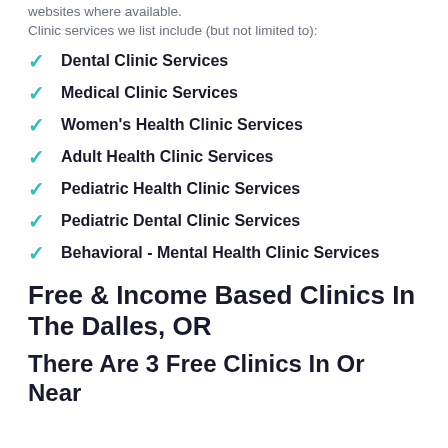websites where available.
Clinic services we list include (but not limited to):
Dental Clinic Services
Medical Clinic Services
Women's Health Clinic Services
Adult Health Clinic Services
Pediatric Health Clinic Services
Pediatric Dental Clinic Services
Behavioral - Mental Health Clinic Services
Free & Income Based Clinics In The Dalles, OR
There Are 3 Free Clinics In Or Near